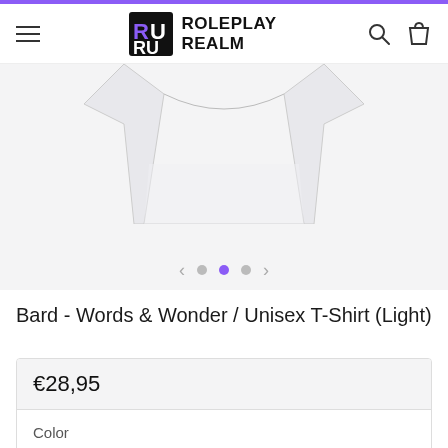Roleplay Realm — navigation header with hamburger menu, logo, search and cart icons
[Figure (photo): Partial product image of a light grey/white t-shirt on a light grey background, with carousel navigation dots (second dot active/purple) and left/right arrows]
Bard - Words & Wonder / Unisex T-Shirt (Light)
€28,95
Color
Sport Grey
White